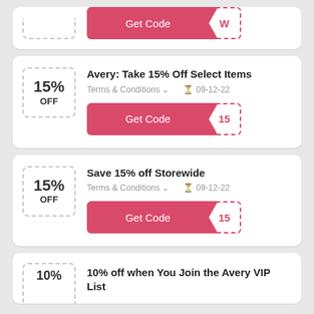[Figure (other): Partial coupon card at top of page showing bottom portion with Get Code button and 'W' code reveal]
Avery: Take 15% Off Select Items
Terms & Conditions  09-12-22
[Figure (other): Get Code button with '15' code reveal]
Save 15% off Storewide
Terms & Conditions  09-12-22
[Figure (other): Get Code button with '15' code reveal]
10% off when You Join the Avery VIP List